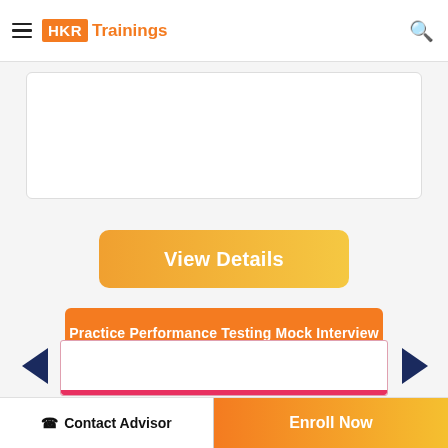HKR Trainings
[Figure (screenshot): Card/content block partially visible at top]
View Details
Practice Performance Testing Mock Interview
[Figure (screenshot): Carousel with left and right navigation arrows and a card with red bottom border]
Contact Advisor
Enroll Now